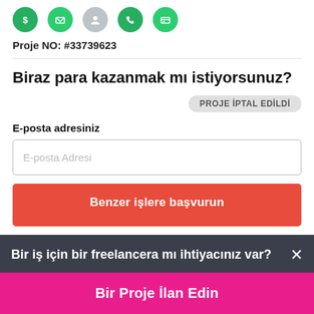[Figure (screenshot): Row of five circular icons: green dollar/coin icon, green envelope icon, gray person icon, green phone icon, green credit card icon]
Proje NO: #33739623
Biraz para kazanmak mı istiyorsunuz?
PROJE İPTAL EDİLDİ
E-posta adresiniz
E-posta Adresi
Benzer işlere başvurun
Bir iş için bir freelancera mı ihtiyacınız var? ×
Bir Proje İlan Edin